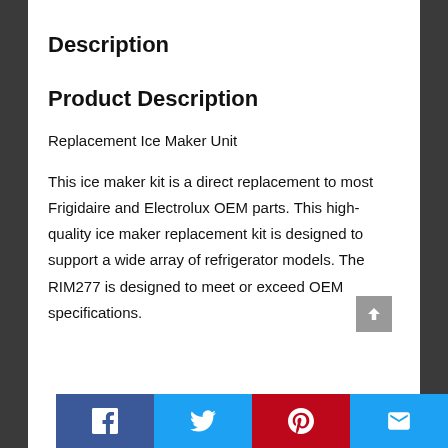Description
Product Description
Replacement Ice Maker Unit
This ice maker kit is a direct replacement to most Frigidaire and Electrolux OEM parts. This high-quality ice maker replacement kit is designed to support a wide array of refrigerator models. The RIM277 is designed to meet or exceed OEM specifications.
Social share bar: Facebook, Twitter, Pinterest, Email